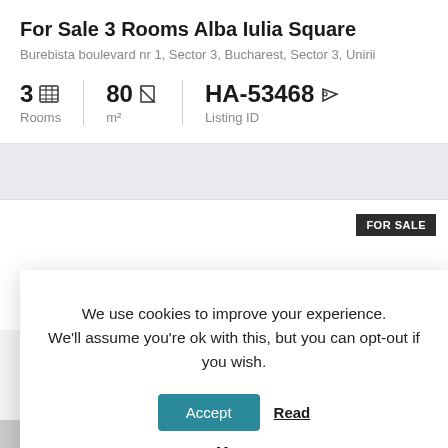For Sale 3 Rooms Alba Iulia Square
Burebista boulevard nr 1, Sector 3, Bucharest, Sector 3, Unirii
3 Rooms  80 m²  HA-53468 Listing ID
FOR SALE
We use cookies to improve your experience. We'll assume you're ok with this, but you can opt-out if you wish.
Accept
Read More
p View